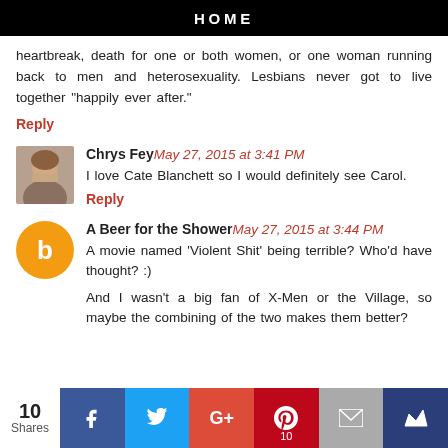HOME
heartbreak, death for one or both women, or one woman running back to men and heterosexuality. Lesbians never got to live together "happily ever after."
Reply
Chrys Fey May 27, 2015 at 3:41 PM
I love Cate Blanchett so I would definitely see Carol.
Reply
A Beer for the Shower May 27, 2015 at 3:44 PM
A movie named 'Violent Shit' being terrible? Who'd have thought? :)
And I wasn't a big fan of X-Men or the Village, so maybe the combining of the two makes them better?